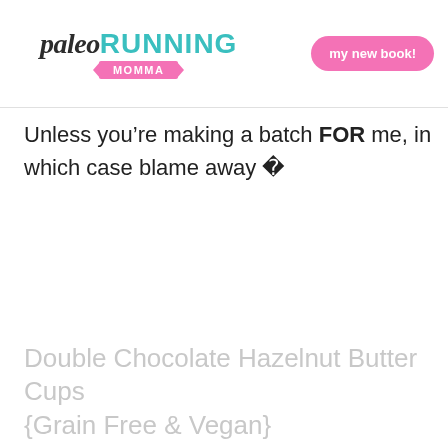paleo RUNNING MOMMA | my new book!
Unless you’re making a batch FOR me, in which case blame away �
Double Chocolate Hazelnut Butter Cups {Grain Free & Vegan}